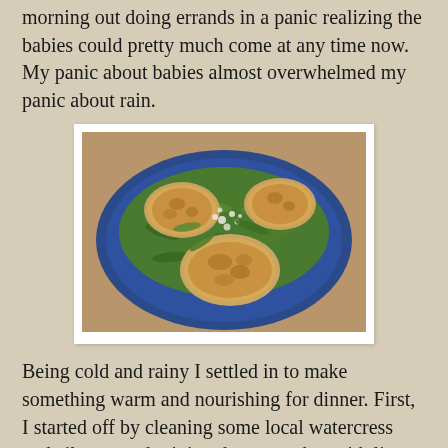morning out doing errands in a panic realizing the babies could pretty much come at any time now. My panic about babies almost overwhelmed my panic about rain.
[Figure (photo): A blue plate with three round golden-brown rutabaga cakes served on a bed of fresh watercress and arugula greens, garnished with crumbled white feta cheese.]
Being cold and rainy I settled in to make something warm and nourishing for dinner. First, I started off by cleaning some local watercress and cilantro and mixing them together with lime, olive oil, and feta cheese with salt and pepper. I also made these rutabaga cakes with leftover rutabaga from when the babies were the size of rutabaga if you can remember back that far. I added some shredded Manchego